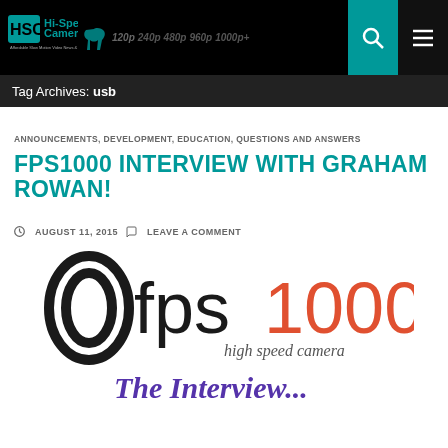HSC Hi-Speed Cameras | 120p 240p 480p 960p 1000p+
Tag Archives: usb
ANNOUNCEMENTS, DEVELOPMENT, EDUCATION, QUESTIONS AND ANSWERS
FPS1000 INTERVIEW WITH GRAHAM ROWAN!
AUGUST 11, 2015  LEAVE A COMMENT
[Figure (logo): fps1000 high speed camera logo with 'The Interview...' text below in purple]